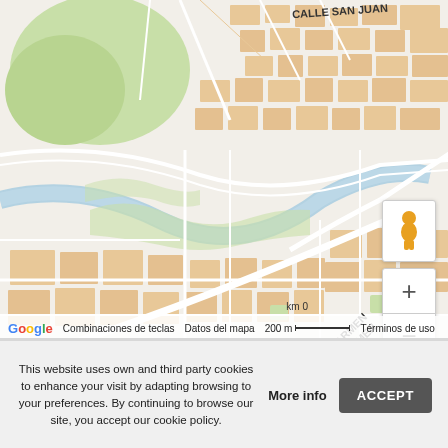[Figure (map): Google Maps street map showing a Spanish city (likely Burgos or Salamanca) with streets labeled CALLE SAN JUAN, PLAZA VEGA, and CALLE CARMEN visible. The map shows urban blocks in orange/tan, green park areas, and a river running diagonally. Map controls include a pegman icon, zoom in (+) and zoom out (-) buttons. Map footer shows Google logo, 'Combinaciones de teclas', 'Datos del mapa', '200 m' scale bar, and 'Términos de uso'.]
This website uses own and third party cookies to enhance your visit by adapting browsing to your preferences. By continuing to browse our site, you accept our cookie policy.